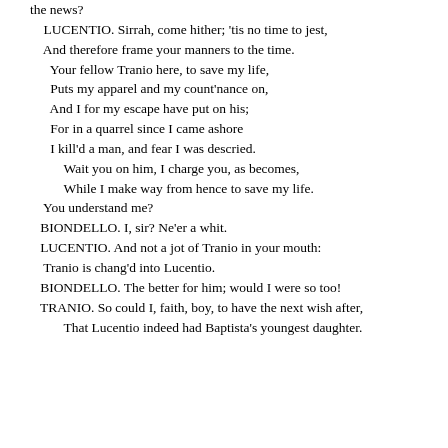the news?
    LUCENTIO. Sirrah, come hither; 'tis no time to jest,
    And therefore frame your manners to the time.
    Your fellow Tranio here, to save my life,
    Puts my apparel and my count'nance on,
    And I for my escape have put on his;
    For in a quarrel since I came ashore
    I kill'd a man, and fear I was descried.
        Wait you on him, I charge you, as becomes,
        While I make way from hence to save my life.
    You understand me?
  BIONDELLO. I, sir? Ne'er a whit.
  LUCENTIO. And not a jot of Tranio in your mouth:
    Tranio is chang'd into Lucentio.
  BIONDELLO. The better for him; would I were so too!
  TRANIO. So could I, faith, boy, to have the next wish after,
        That Lucentio indeed had Baptista's youngest daughter.